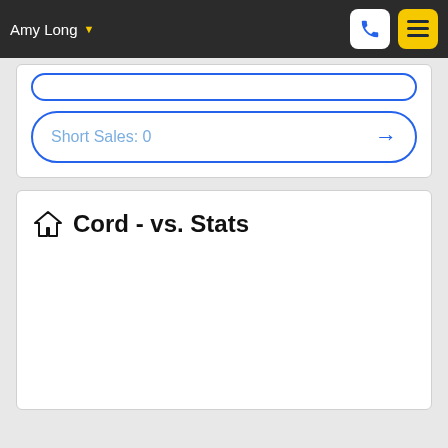Amy Long
Short Sales: 0
Cord - vs. Stats